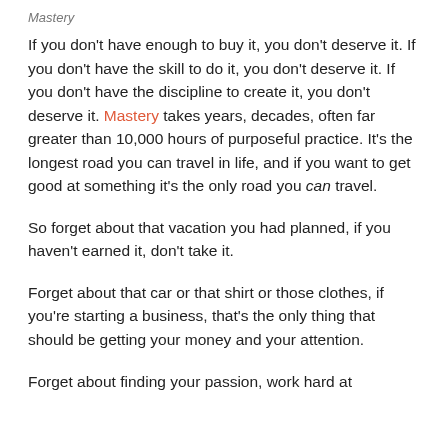Mastery
If you don't have enough to buy it, you don't deserve it. If you don't have the skill to do it, you don't deserve it. If you don't have the discipline to create it, you don't deserve it. Mastery takes years, decades, often far greater than 10,000 hours of purposeful practice. It's the longest road you can travel in life, and if you want to get good at something it's the only road you can travel.
So forget about that vacation you had planned, if you haven't earned it, don't take it.
Forget about that car or that shirt or those clothes, if you're starting a business, that's the only thing that should be getting your money and your attention.
Forget about finding your passion, work hard at